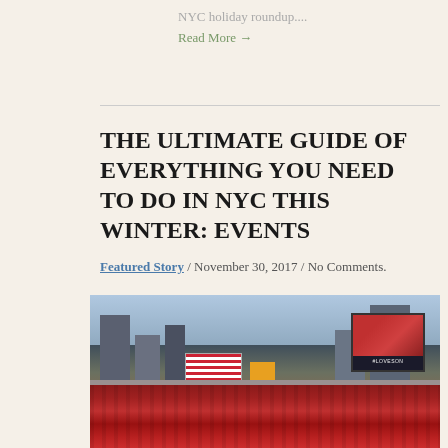NYC holiday roundup....
Read More →
THE ULTIMATE GUIDE OF EVERYTHING YOU NEED TO DO IN NYC THIS WINTER: EVENTS
Featured Story / November 30, 2017 / No Comments.
[Figure (photo): Large crowd of people dressed as Santa Claus gathered in Times Square, New York City, with skyscrapers, billboards, and an American flag visible in the background.]